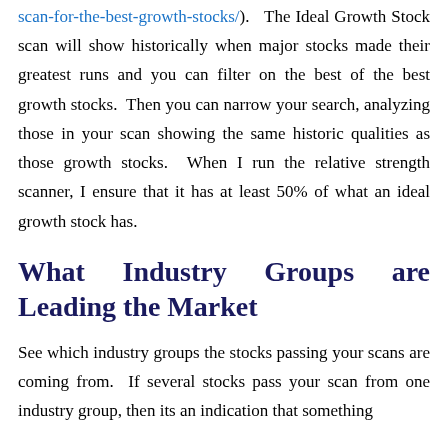scan-for-the-best-growth-stocks/). The Ideal Growth Stock scan will show historically when major stocks made their greatest runs and you can filter on the best of the best growth stocks. Then you can narrow your search, analyzing those in your scan showing the same historic qualities as those growth stocks. When I run the relative strength scanner, I ensure that it has at least 50% of what an ideal growth stock has.
What Industry Groups are Leading the Market
See which industry groups the stocks passing your scans are coming from. If several stocks pass your scan from one industry group, then its an indication that something